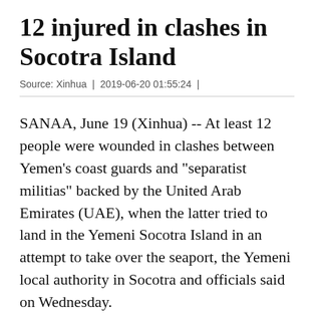12 injured in clashes in Socotra Island
Source: Xinhua | 2019-06-20 01:55:24 |
SANAA, June 19 (Xinhua) -- At least 12 people were wounded in clashes between Yemen's coast guards and "separatist militias" backed by the United Arab Emirates (UAE), when the latter tried to land in the Yemeni Socotra Island in an attempt to take over the seaport, the Yemeni local authority in Socotra and officials said on Wednesday.
The clashes erupted on Tuesday afternoon following the